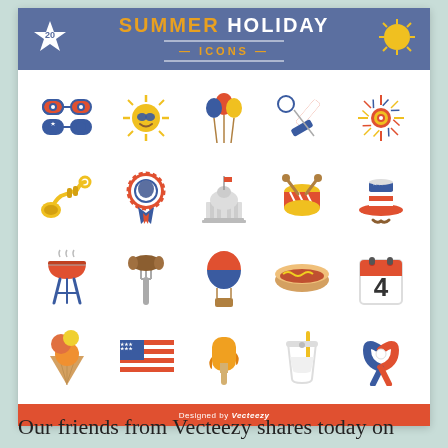SUMMER HOLIDAY ICONS
[Figure (infographic): A grid of 20 flat design summer holiday / 4th of July themed icons including sunglasses, sun, balloons, firework, trumpet, medal, Capitol building, drum, Uncle Sam hat, BBQ grill, sausage, hot air balloon, hot dog, calendar with '4', ice cream cone, American flag, popsicle, drink cup, ribbon]
Designed by Vecteezy
Our friends from Vecteezy shares today on